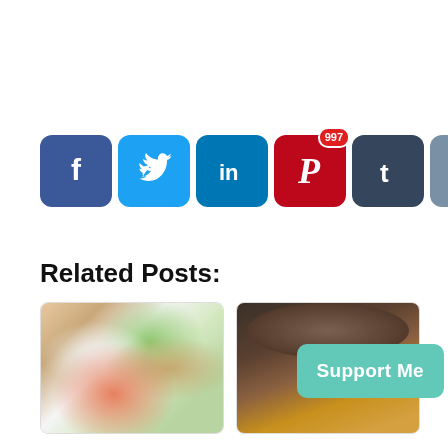[Figure (infographic): Row of 7 social media share buttons: Facebook (blue, f icon), Twitter (light blue, bird icon), LinkedIn (blue, in icon), Pinterest (red, P icon with badge showing 997), Tumblr (dark blue, t icon), Reddit (steel blue, alien icon), and a green circular arrows/refresh icon.]
Related Posts:
[Figure (photo): Photo of a white plate with salmon and salad greens with vegetables - a food dish photo used as a related post thumbnail.]
[Figure (photo): Photo of a bowl of soup (orange/brown color) with a round cracker/bread on top, photographed from above on a dark background - a food dish photo used as a related post thumbnail.]
[Figure (other): Teal/mint colored Support Me button in bottom right area.]